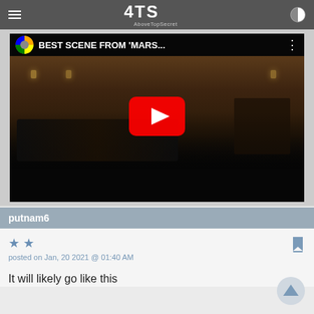4TS AboveTopSecret
[Figure (screenshot): YouTube video thumbnail showing a courtroom scene with text 'BEST SCENE FROM MARS...' and a red YouTube play button overlay]
putnam6
posted on Jan, 20 2021 @ 01:40 AM
It will likely go like this